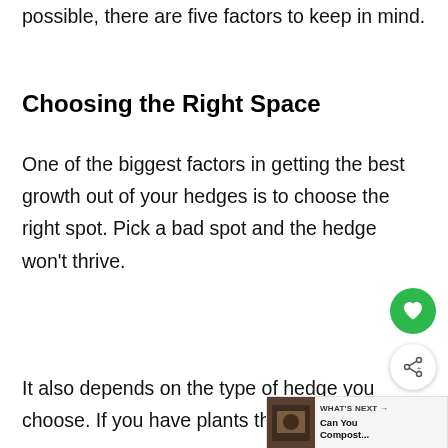possible, there are five factors to keep in mind.
Choosing the Right Space
One of the biggest factors in getting the best growth out of your hedges is to choose the right spot. Pick a bad spot and the hedge won't thrive.
It also depends on the type of hedge you choose. If you have plants that are